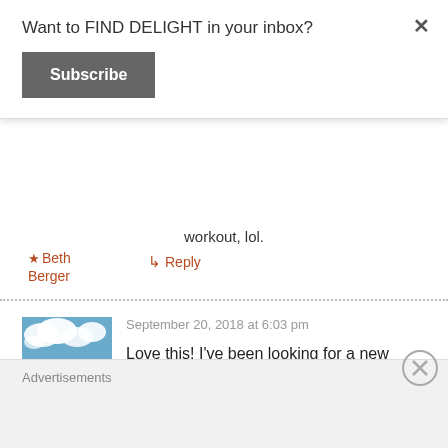Want to FIND DELIGHT in your inbox?
Subscribe
workout, lol.
★ Beth Berger
↳ Reply
[Figure (photo): Avatar photo showing a person sitting on rocks against a blue sky with clouds]
September 20, 2018 at 6:03 pm
Love this! I've been looking for a new workout!
Jenn
↳ Reply
Advertisements